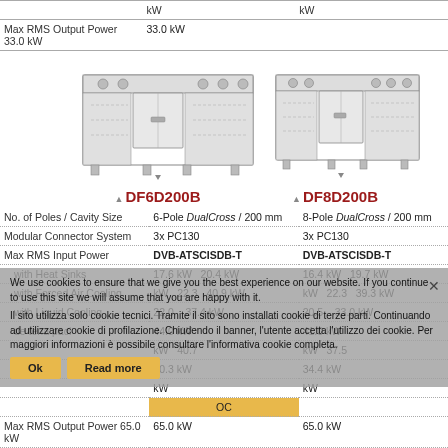|  | kW | kW |
| --- | --- | --- |
| Max RMS Output Power 33.0 kW | 33.0 kW |  |
[Figure (engineering-diagram): Two industrial filter units side by side: DF6D200B (larger, 6-pole DualCross) on the left and DF8D200B (8-pole DualCross) on the right. Both are rack-mounted equipment with visible internal components.]
|  | DF6D200B | DF8D200B |
| --- | --- | --- |
| No. of Poles / Cavity Size | 6-Pole DualCross / 200 mm | 8-Pole DualCross / 200 mm |
| Modular Connector System | 3x PC130 | 3x PC130 |
| Max RMS Input Power | DVB-ATSCISDB-T | DVB-ATSCISDB-T |
|   with Heat Sinks | 17.6 kW   20.4 kW | 16.4 kW   19.7 kW |
|   with Forced Air Cooling | kW   22.3   40.9 kW | kW   22.3   39.3 kW |
|   with Liquid Cooling | 22.0   37.4 kW | 20.5   33.0 kW |
|   de tena paci | 44.0 kW | 41.0 kW |
|  | kW   40.7 | kW   37.5 |
|  | 40.3 kW | 34.4 kW |
|  | kW | kW |
|  | OC |  |
| Max RMS Output Power 65.0 kW | 65.0 kW |  |